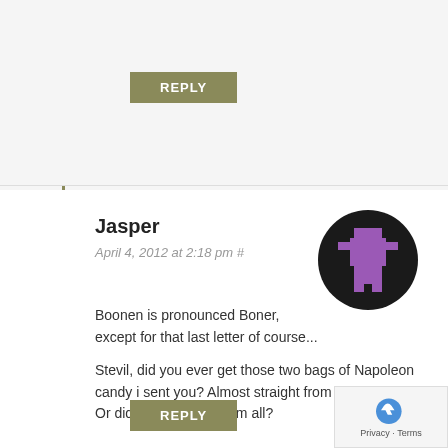REPLY
Jasper
April 4, 2012 at 2:18 pm #
[Figure (illustration): Pixel art avatar of a purple character on a dark circular background]
Boonen is pronounced Boner, except for that last letter of course...
Stevil, did you ever get those two bags of Napoleon candy i sent you? Almost straight from Vlaanderen? Or did customs eat them all?
REPLY